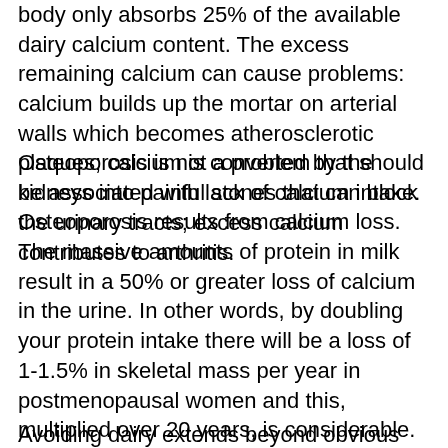body only absorbs 25% of the available dairy calcium content. The excess remaining calcium can cause problems: calcium builds up the mortar on arterial walls which becomes atherosclerotic plaques; calcium is converted by the kidneys into painful stones that can block the urinary tracts; excess calcium contributes to arthritis.
Osteoporosis is not a problem that should be associated with lack of calcium intake. Osteoporosis results from calcium loss. The massive amounts of protein in milk result in a 50% or greater loss of calcium in the urine. In other words, by doubling your protein intake there will be a loss of 1-1.5% in skeletal mass per year in postmenopausal women and this, multiplied over 20 years, is considerable. The calcium contained in leafy green vegetables is more easily absorbed than the calcium in milk, and plant proteins do not result in calcium loss the same way as do animal proteins.
Avoiding dairy extends beyond obvious items such as